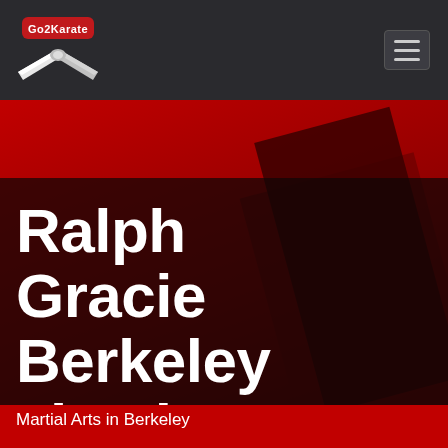[Figure (logo): Go2Karate logo in top-left of navigation bar: red badge with 'Go2Karate' text and crossed white/silver belt graphic below]
[Figure (other): Hamburger menu icon (three horizontal lines) in dark rounded button, top-right of navigation bar]
Ralph Gracie Berkeley Jiu Jitsu Academy
Martial Arts in Berkeley